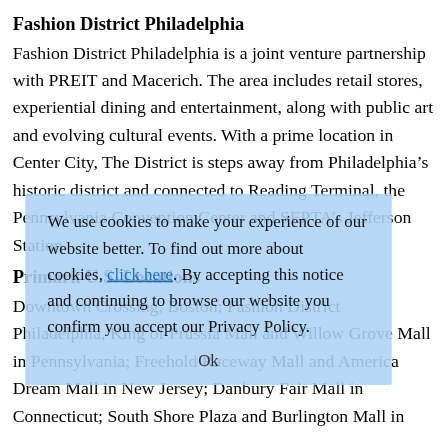Fashion District Philadelphia
Fashion District Philadelphia is a joint venture partnership with PREIT and Macerich. The area includes retail stores, experiential dining and entertainment, along with public art and evolving cultural events. With a prime location in Center City, The District is steps away from Philadelphia’s historic district and connected to Reading Terminal, the Pennsylvania Convention Center and SEPTA’s Jefferson Station.
We use cookies to make your experience of our website better. To find out more about cookies, click here. By accepting this notice and continuing to browse our website you confirm you accept our Privacy Policy.
Primark U.S. Locations
Downtown Crossing, Boston; Fashion District Philadelphia, King of Prussia Mall and Willow Grove Mall in Pennsylvania; Freehold Raceway Mall and America Dream Mall in New Jersey; Danbury Fair Mall in Connecticut; South Shore Plaza and Burlington Mall in